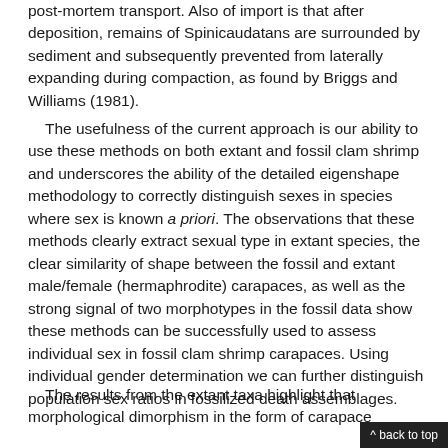post-mortem transport. Also of import is that after deposition, remains of Spinicaudatans are surrounded by sediment and subsequently prevented from laterally expanding during compaction, as found by Briggs and Williams (1981).
The usefulness of the current approach is our ability to use these methods on both extant and fossil clam shrimp and underscores the ability of the detailed eigenshape methodology to correctly distinguish sexes in species where sex is known a priori. The observations that these methods clearly extract sexual type in extant species, the clear similarity of shape between the fossil and extant male/female (hermaphrodite) carapaces, as well as the strong signal of two morphotypes in the fossil data show these methods can be successfully used to assess individual sex in fossil clam shrimp carapaces. Using individual gender determination we can further distinguish population sex ratios in fossilized death assemblages.
The results from the extant taxa highlight that morphological dimorphism in the form of carapace
^ back to top